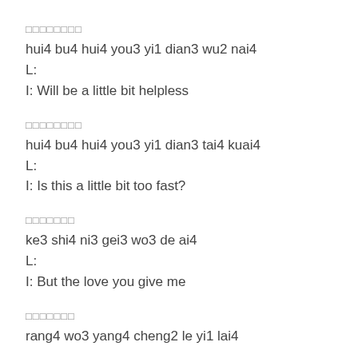□□□□□□□□
hui4 bu4 hui4 you3 yi1 dian3 wu2 nai4
L:
I: Will be a little bit helpless
□□□□□□□□
hui4 bu4 hui4 you3 yi1 dian3 tai4 kuai4
L:
I: Is this a little bit too fast?
□□□□□□□
ke3 shi4 ni3 gei3 wo3 de ai4
L:
I: But the love you give me
□□□□□□□
rang4 wo3 yang4 cheng2 le yi1 lai4